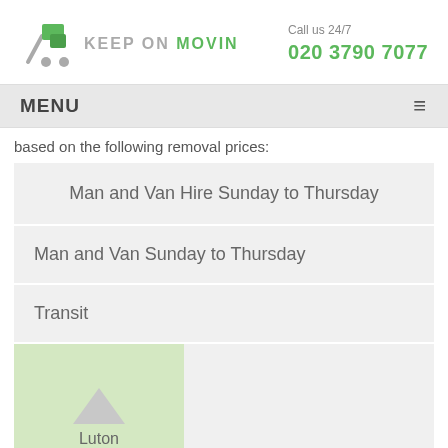[Figure (logo): Keep On Movin logo with green cart icon and grey/green text]
Call us 24/7
020 3790 7077
MENU
based on the following removal prices:
Man and Van Hire Sunday to Thursday
Man and Van Sunday to Thursday
Transit
Luton